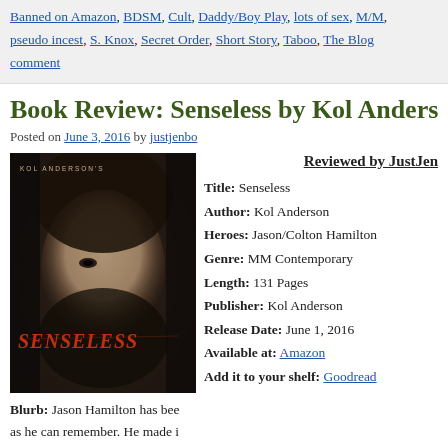Banned on Amazon, BDSM, Cult, Daddy/Boy Play, lots of sex, M/M, pseudo incest, S. Knox, Secret Order, Short Story, Taboo, The Blog, comment
Book Review: Senseless by Kol Anders
Posted on June 3, 2016 by justjenbo
Reviewed by JustJen
[Figure (photo): Book cover for Senseless by Kol Anderson showing a young man's face with dark hair, moody lighting, with the title 'SENSELESS' in red stylized text overlaid]
Title: Senseless
Author: Kol Anderson
Heroes: Jason/Colton Hamilton
Genre: MM Contemporary
Length: 131 Pages
Publisher: Kol Anderson
Release Date: June 1, 2016
Available at: Amazon
Add it to your shelf: Goodreads
Blurb: Jason Hamilton has been as he can remember. He made i